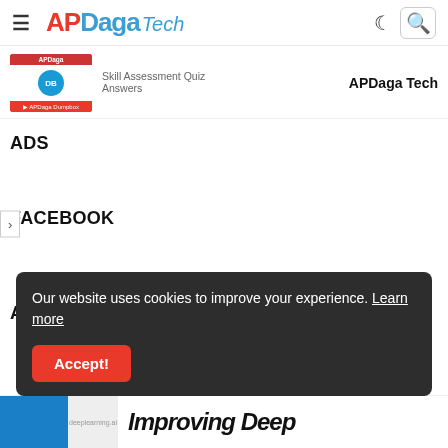APDaga Tech
[Figure (screenshot): APDaga DumpBox video thumbnail for Skill Assessment Quiz Answers]
Skill Assessment Quiz Answers
APDaga Tech
ADS
FACEBOOK
ADS
Our website uses cookies to improve your experience. Learn more
Accept!
Improving Deep